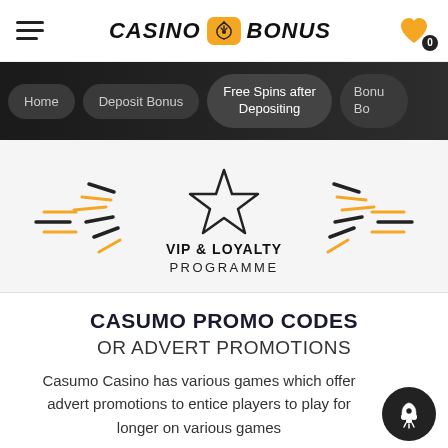CASINO BONUS
[Figure (screenshot): Navigation bar with menu buttons: Home, Deposit Bonus, Free Spins after Depositing, Bonu Bo (partially visible)]
[Figure (illustration): VIP & LOYALTY PROGRAMME decorative illustration with a star icon and radiating dash lines in gold and black]
CASUMO PROMO CODES OR ADVERT PROMOTIONS
Casumo Casino has various games which offer advert promotions to entice players to play for longer on various games